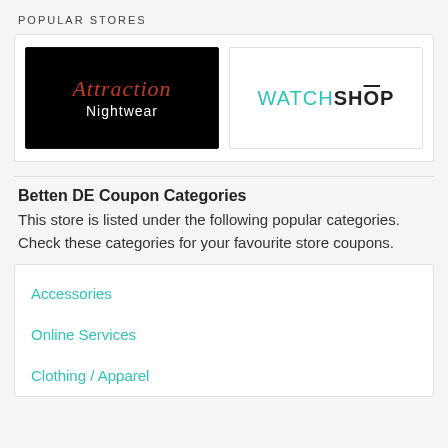POPULAR STORES
[Figure (logo): Attraction Nightwear logo on black background]
[Figure (logo): WatchShop logo on white background]
Betten DE Coupon Categories
This store is listed under the following popular categories. Check these categories for your favourite store coupons.
Accessories
Online Services
Clothing / Apparel